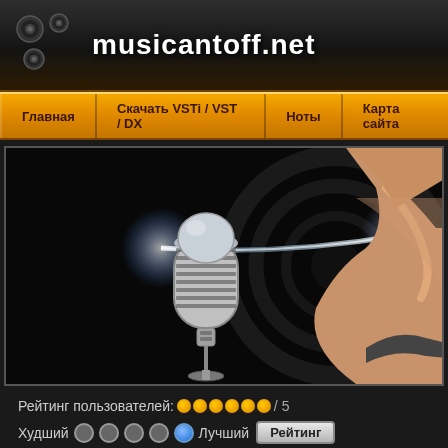musicantoff.net
Главная
Скачать VSTi / VST / DX
Ноты
Карта сайта
[Figure (photo): Promotional banner showing a vintage silver microphone on the left with a bright light beam, and a woman's arm/shoulder on the right against a dark background with circular light patterns]
Рейтинг пользователей: ●●●●●● / 5
Худший ○ ○ ○ ○ ● Лучший Рейтинг